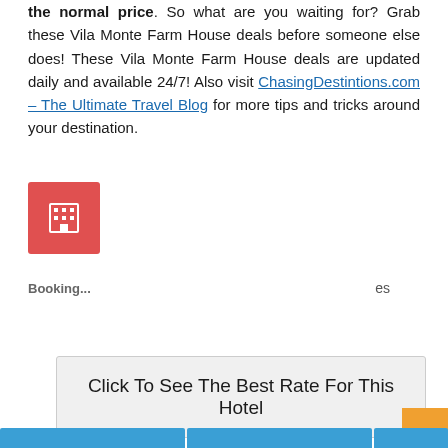the normal price. So what are you waiting for? Grab these Vila Monte Farm House deals before someone else does! These Vila Monte Farm House deals are updated daily and available 24/7! Also visit ChasingDestintions.com – The Ultimate Travel Blog for more tips and tricks around your destination.
[Figure (screenshot): A CTA button box with light gray background reading 'Click To See The Best Rate For This Hotel', with a red hotel icon box below it.]
[Figure (screenshot): Cookie consent banner with black background. Text: 'This website uses cookies to ensure you get the best experience on our website. (Ok, now just show me hotels)' with a yellow 'Proceed' button. Partial text showing 'Booking...' and blue booking strips at bottom.]